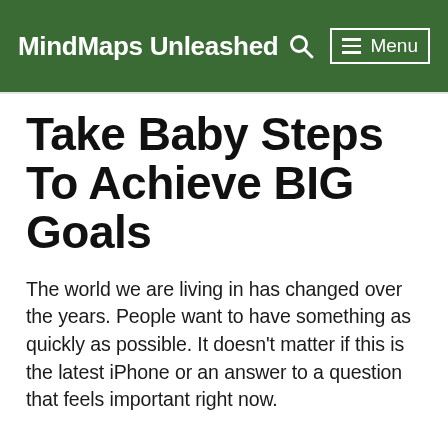MindMaps Unleashed  Menu
Take Baby Steps To Achieve BIG Goals
The world we are living in has changed over the years. People want to have something as quickly as possible. It doesn't matter if this is the latest iPhone or an answer to a question that feels important right now.